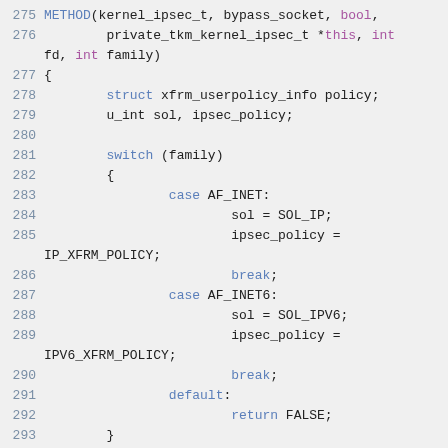[Figure (screenshot): Code snippet showing C source code for a METHOD function named bypass_socket in kernel_ipsec_t, with syntax highlighting. Lines 275-296 are visible, implementing socket bypass logic using switch/case on address family (AF_INET, AF_INET6), setting sol and ipsec_policy variables, and calling memset on a policy struct.]